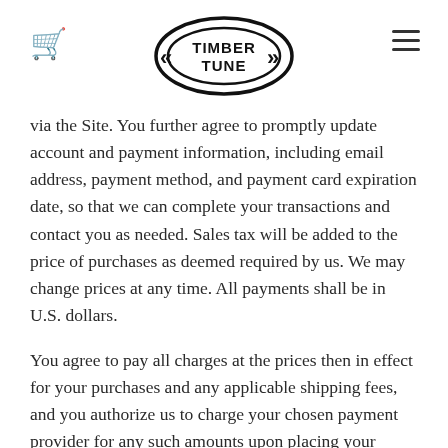Timber Tune — navigation header with cart icon, logo, and menu
via the Site. You further agree to promptly update account and payment information, including email address, payment method, and payment card expiration date, so that we can complete your transactions and contact you as needed. Sales tax will be added to the price of purchases as deemed required by us. We may change prices at any time. All payments shall be in U.S. dollars.
You agree to pay all charges at the prices then in effect for your purchases and any applicable shipping fees, and you authorize us to charge your chosen payment provider for any such amounts upon placing your order. We reserve the right to correct any errors or mistakes in pricing, even if we have already requested or received payment.
We reserve the right to refuse any order placed through the Site. We may, in our sole discretion, limit or cancel quantities purchased per person, per household, or per order.